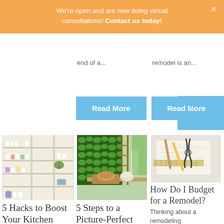We're open and are now doing virtual consultations! Contact us today!
end of a...
remodel is an...
[Figure (screenshot): Blue 'Read More' button (center column)]
[Figure (screenshot): Blue 'Read More' button (right column)]
[Figure (photo): Kitchen shelving unit with white dishes, jars, and colorful items on illuminated shelves]
5 Hacks to Boost Your Kitchen
[Figure (photo): Lush vertical garden wall with green plants and outdoor dining table with bread and bowl]
5 Steps to a Picture-Perfect Outdoor
[Figure (photo): Pencils, ruler, and construction tools on blueprint/sketch paper]
How Do I Budget for a Remodel?
Thinking about a remodeling